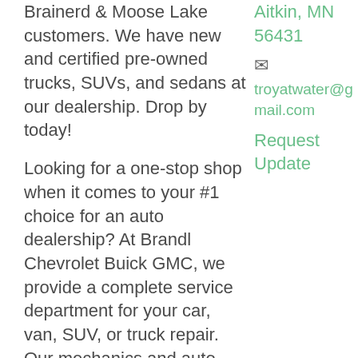Brainerd & Moose Lake customers. We have new and certified pre-owned trucks, SUVs, and sedans at our dealership. Drop by today!
Aitkin, MN 56431
✉ troyatwater@gmail.com
Request Update
Looking for a one-stop shop when it comes to your #1 choice for an auto dealership? At Brandl Chevrolet Buick GMC, we provide a complete service department for your car, van, SUV, or truck repair. Our mechanics and auto body experts use only the highest quality GM parts and accessories. Baxter, MN Buick GMC and Chevrolet